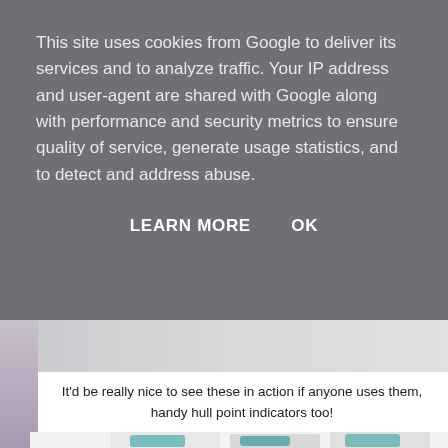This site uses cookies from Google to deliver its services and to analyze traffic. Your IP address and user-agent are shared with Google along with performance and security metrics to ensure quality of service, generate usage statistics, and to detect and address abuse.
LEARN MORE    OK
It'd be really nice to see these in action if anyone uses them, handy hull point indicators too!
[Figure (photo): Photo of teal/turquoise numbered game tiles (numbered 1-9) scattered on a white surface, each tile is diamond/square shaped with dark borders and white numbers]